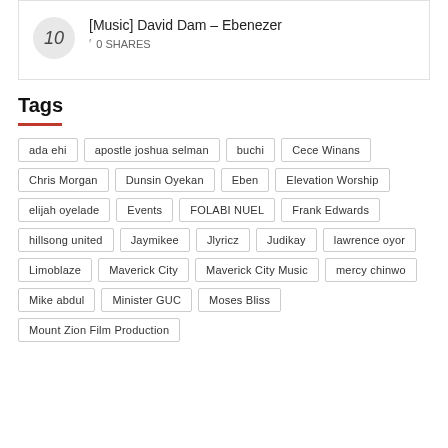10  [Music] David Dam – Ebenezer  0 SHARES
Tags
ada ehi
apostle joshua selman
buchi
Cece Winans
Chris Morgan
Dunsin Oyekan
Eben
Elevation Worship
elijah oyelade
Events
FOLABI NUEL
Frank Edwards
hillsong united
Jaymikee
Jlyricz
Judikay
lawrence oyor
Limoblaze
Maverick City
Maverick City Music
mercy chinwo
Mike abdul
Minister GUC
Moses Bliss
Mount Zion Film Production